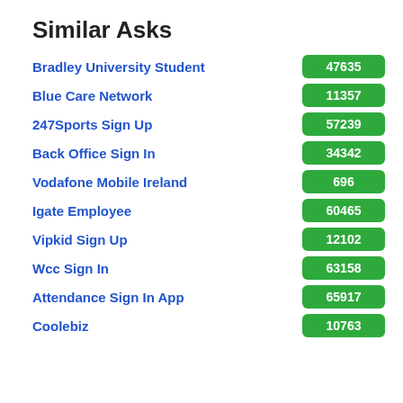Similar Asks
Bradley University Student | 47635
Blue Care Network | 11357
247Sports Sign Up | 57239
Back Office Sign In | 34342
Vodafone Mobile Ireland | 696
Igate Employee | 60465
Vipkid Sign Up | 12102
Wcc Sign In | 63158
Attendance Sign In App | 65917
Coolebiz | 10763